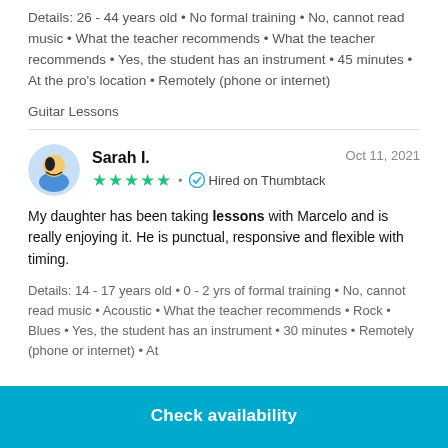Details: 26 - 44 years old • No formal training • No, cannot read music • What the teacher recommends • What the teacher recommends • Yes, the student has an instrument • 45 minutes • At the pro's location • Remotely (phone or internet)
Guitar Lessons
Sarah I.   Oct 11, 2021   ★★★★★ • Hired on Thumbtack
My daughter has been taking lessons with Marcelo and is really enjoying it. He is punctual, responsive and flexible with timing.
Details: 14 - 17 years old • 0 - 2 yrs of formal training • No, cannot read music • Acoustic • What the teacher recommends • Rock • Blues • Yes, the student has an instrument • 30 minutes • Remotely (phone or internet) • At
Check availability